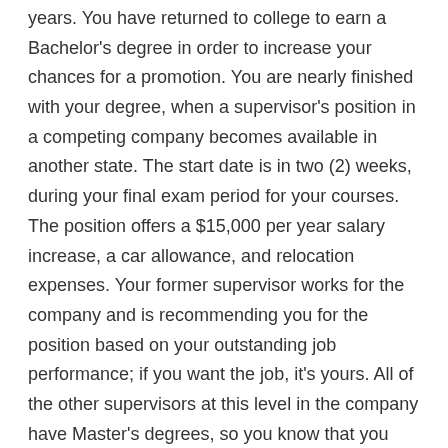years. You have returned to college to earn a Bachelor's degree in order to increase your chances for a promotion. You are nearly finished with your degree, when a supervisor's position in a competing company becomes available in another state. The start date is in two (2) weeks, during your final exam period for your courses. The position offers a $15,000 per year salary increase, a car allowance, and relocation expenses. Your former supervisor works for the company and is recommending you for the position based on your outstanding job performance; if you want the job, it's yours. All of the other supervisors at this level in the company have Master's degrees, so you know that you would be expected to earn your Bachelor's degree and continue on to a Master's degree. Your present company offers tuition reimbursement, but the new company does not.
Scenario 3: Your child comes home from school with an